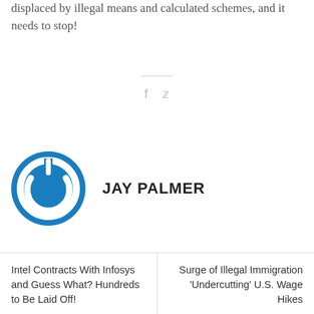displaced by illegal means and calculated schemes, and it needs to stop!
[Figure (other): Social share icons: Facebook (f) and Twitter bird icon, with a horizontal divider line above]
[Figure (logo): Jay Palmer author avatar: blue circle with white power button icon]
JAY PALMER
Intel Contracts With Infosys and Guess What? Hundreds to Be Laid Off!
Surge of Illegal Immigration 'Undercutting' U.S. Wage Hikes